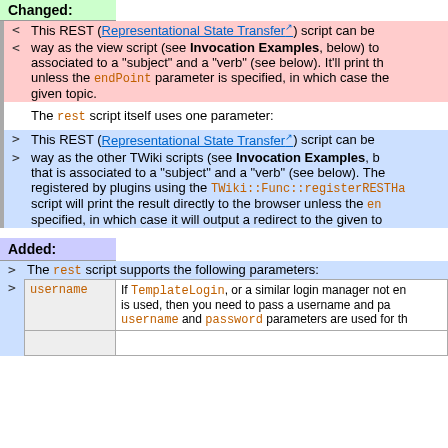Changed:
< This REST (Representational State Transfer) script can be
< way as the view script (see Invocation Examples, below) to associated to a "subject" and a "verb" (see below). It'll print the unless the endPoint parameter is specified, in which case the given topic.
The rest script itself uses one parameter:
> This REST (Representational State Transfer) script can be
> way as the other TWiki scripts (see Invocation Examples, b that is associated to a "subject" and a "verb" (see below). The registered by plugins using the TWiki::Func::registerRESTHa script will print the result directly to the browser unless the en specified, in which case it will output a redirect to the given to
Added:
> The rest script supports the following parameters:
| username | description |
| --- | --- |
| username | If TemplateLogin, or a similar login manager not en is used, then you need to pass a username and pa username and password parameters are used for th |